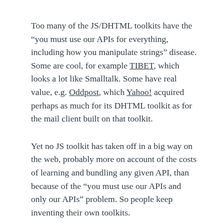Too many of the JS/DHTML toolkits have the “you must use our APIs for everything, including how you manipulate strings” disease. Some are cool, for example TIBET, which looks a lot like Smalltalk. Some have real value, e.g. Oddpost, which Yahoo! acquired perhaps as much for its DHTML toolkit as for the mail client built on that toolkit.
Yet no JS toolkit has taken off in a big way on the web, probably more on account of the costs of learning and bundling any given API, than because of the “you must use our APIs and only our APIs” problem. So people keep inventing their own toolkits.
Inventing toolkits and extension systems on top of JS is cool. I hoped that would happen, because during Netscape 2 and 3 days I was under great pressure to